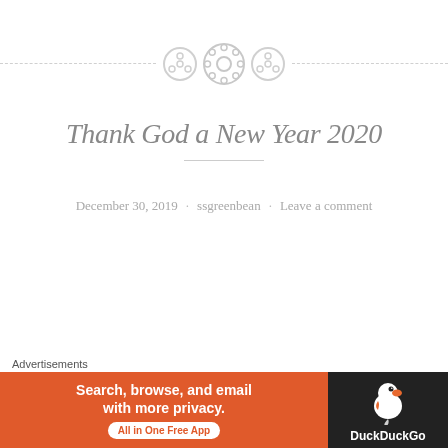[Figure (illustration): Decorative divider with dashed horizontal lines and three circular button/gear icons in the center]
Thank God a New Year 2020
December 30, 2019 · ssgreenbean · Leave a comment
A New Year
To say that 2019 was one hell of a ride is an
Advertisements
[Figure (screenshot): DuckDuckGo advertisement banner: orange left section with text 'Search, browse, and email with more privacy. All in One Free App' and dark right section with DuckDuckGo duck logo and brand name]